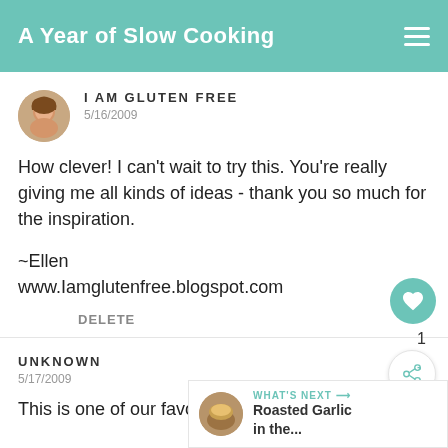A Year of Slow Cooking
I AM GLUTEN FREE
5/16/2009

How clever! I can't wait to try this. You're really giving me all kinds of ideas - thank you so much for the inspiration.

~Ellen
www.Iamglutenfree.blogspot.com
DELETE
UNKNOWN
5/17/2009

This is one of our favorite chicken...